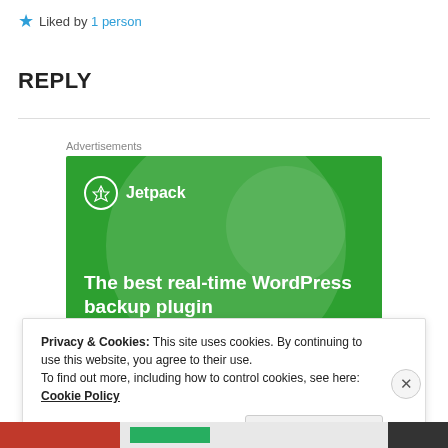★ Liked by 1 person
REPLY
[Figure (illustration): Jetpack WordPress backup plugin advertisement banner on green background with large decorative circles and white text reading 'The best real-time WordPress backup plugin']
Privacy & Cookies: This site uses cookies. By continuing to use this website, you agree to their use.
To find out more, including how to control cookies, see here: Cookie Policy
Close and accept